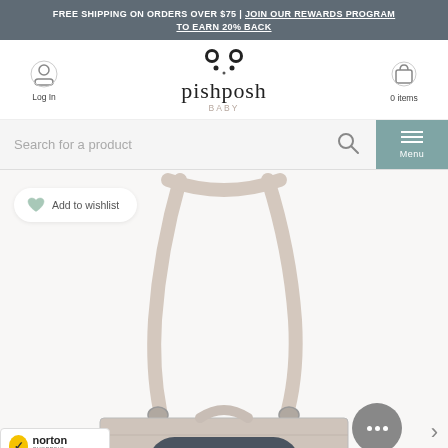FREE SHIPPING ON ORDERS OVER $75 | JOIN OUR REWARDS PROGRAM TO EARN 20% BACK
[Figure (logo): Pishposh Baby logo with panda ears icon, Log In user icon on left, shopping cart with 0 items on right]
Search for a product
Menu
[Figure (photo): Light beige/cream colored baby diaper bag with long shoulder strap, shown against white background. Bag has structured rectangular body with metal hardware.]
Add to wishlist
Posh Points
[Figure (logo): Norton Shopping Guarantee badge with yellow checkmark, verifying...]